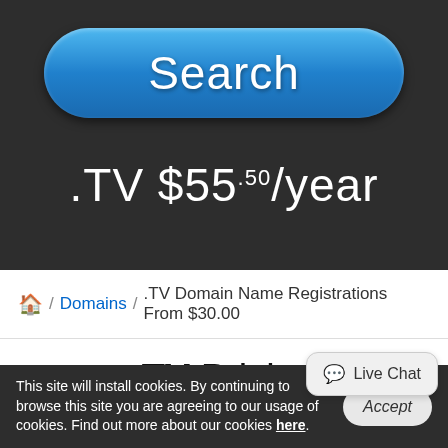[Figure (screenshot): Blue rounded Search button with gradient background]
.TV $55.50/year
🏠 / Domains / .TV Domain Name Registrations From $30.00
.TV Pricing
| TLD | 1 Year | 2 years | 3 years | 4 years | 5 year |
| --- | --- | --- | --- | --- | --- |
This site will install cookies. By continuing to browse this site you are agreeing to our usage of cookies. Find out more about our cookies here.